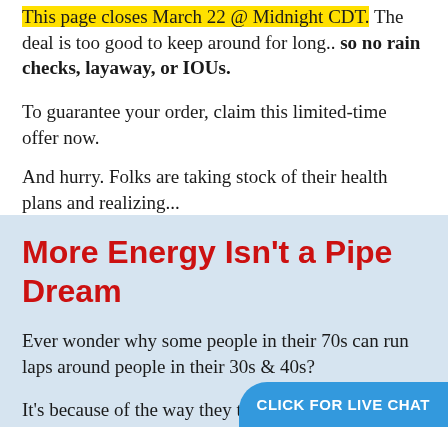This page closes March 22 @ Midnight CDT. The deal is too good to keep around for long.. so no rain checks, layaway, or IOUs.
To guarantee your order, claim this limited-time offer now.
And hurry. Folks are taking stock of their health plans and realizing...
More Energy Isn't a Pipe Dream
Ever wonder why some people in their 70s can run laps around people in their 30s & 40s?
It's because of the way they treat their body!